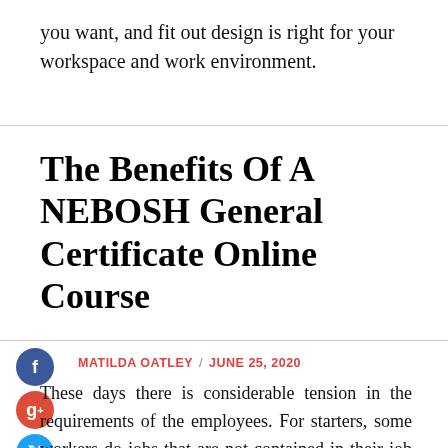you want, and fit out design is right for your workspace and work environment.
The Benefits Of A NEBOSH General Certificate Online Course
MATILDA OATLEY / JUNE 25, 2020
These days there is considerable tension in the requirements of the employees. For starters, some workers do jobs that are not contained in their job descriptions. In addition, risks from the workplace have